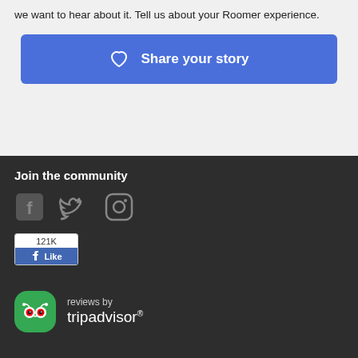we want to hear about it. Tell us about your Roomer experience.
[Figure (illustration): Blue rounded button with heart icon and text 'Share your story']
Join the community
[Figure (illustration): Social media icons: Facebook, Twitter, Instagram in gray]
[Figure (illustration): Facebook Like button widget showing 121K likes]
[Figure (logo): TripAdvisor logo with owl icon and text 'reviews by tripadvisor']